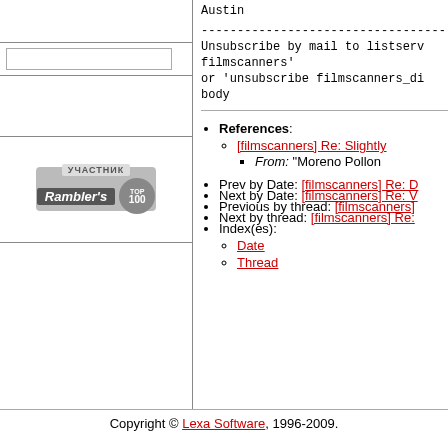Austin
-----------------------------------
Unsubscribe by mail to listserv... filmscanners'
or 'unsubscribe filmscanners_di...
body
[Figure (logo): Rambler's Top 100 badge with Cyrillic text УЧАСТНИК]
References: [filmscanners] Re: Slightly - From: "Moreno Pollon"
Prev by Date: [filmscanners] Re: D
Next by Date: [filmscanners] Re: V
Previous by thread: [filmscanners]
Next by thread: [filmscanners] Re:
Index(es): Date, Thread
Copyright © Lexa Software, 1996-2009.